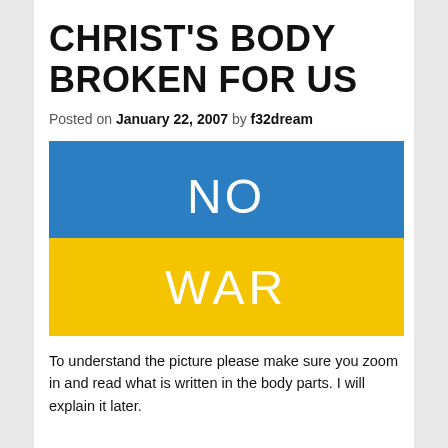CHRIST'S BODY BROKEN FOR US
Posted on January 22, 2007 by f32dream
[Figure (illustration): A two-color image resembling the Ukrainian flag — top half blue with white text 'NO', bottom half yellow with white text 'WAR'.]
To understand the picture please make sure you zoom in and read what is written in the body parts. I will explain it later.